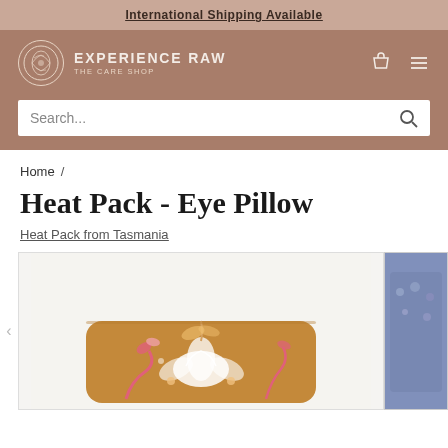International Shipping Available
[Figure (logo): Experience Raw – The Care Shop logo with circular emblem and text]
Search...
Home /
Heat Pack - Eye Pillow
Heat Pack from Tasmania
[Figure (photo): Eye pillow heat pack product image on golden/mustard floral fabric background, partially visible second product image to the right with 'EYE PACK' text visible in blue packaging]